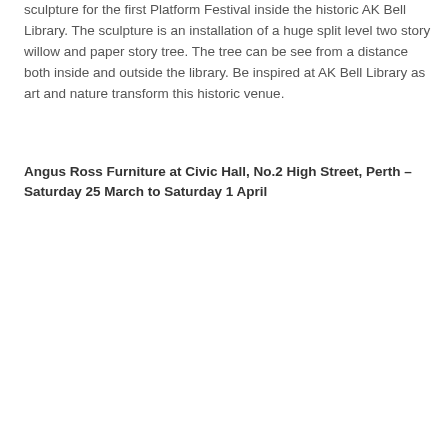sculpture for the first Platform Festival inside the historic AK Bell Library. The sculpture is an installation of a huge split level two story willow and paper story tree. The tree can be see from a distance both inside and outside the library. Be inspired at AK Bell Library as art and nature transform this historic venue.
Angus Ross Furniture at Civic Hall, No.2 High Street, Perth – Saturday 25 March to Saturday 1 April